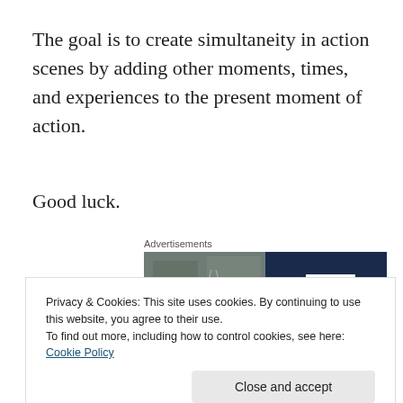The goal is to create simultaneity in action scenes by adding other moments, times, and experiences to the present moment of action.
Good luck.
Advertisements
[Figure (photo): Advertisement image showing a person smiling, split with a dark navy blue panel containing a large white letter P logo]
Privacy & Cookies: This site uses cookies. By continuing to use this website, you agree to their use.
To find out more, including how to control cookies, see here: Cookie Policy